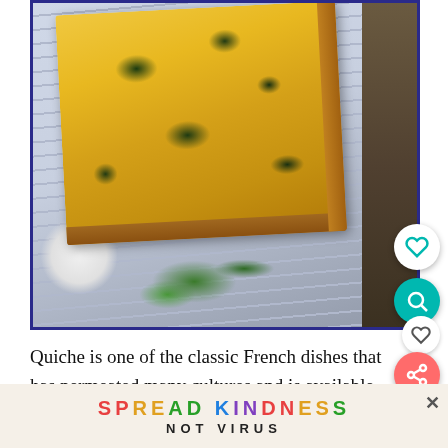[Figure (photo): Overhead view of a square spinach quiche/tart with golden pastry crust on a striped kitchen towel, with fresh spinach leaves, a partial blue-rimmed plate visible, on a dark stone surface. UI overlay buttons visible: heart/like, search/magnify, and share icons.]
Quiche is one of the classic French dishes that has permeated many cultures and is available in many countries. What makes quiche so versatile and
[Figure (infographic): Advertisement banner: 'SPREAD KINDNESS NOT VIRUS' in colorful letters on a light background, with dark panels on left and right sides and an X close button.]